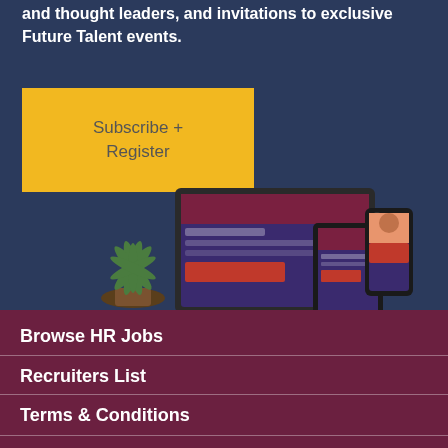and thought leaders, and invitations to exclusive Future Talent events.
[Figure (other): Yellow button with text Subscribe + Register on dark navy background]
[Figure (photo): Laptop, tablet and smartphone showing Future Talent website, with a small succulent plant on the left, on a navy background]
Browse HR Jobs
Recruiters List
Terms & Conditions